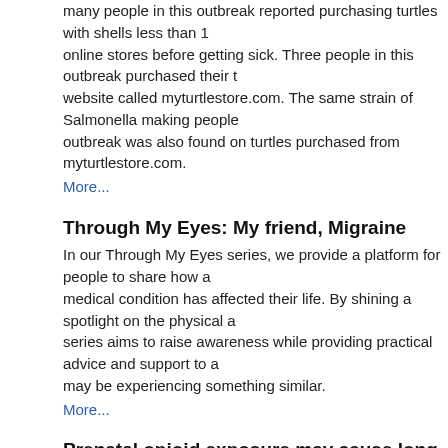many people in this outbreak reported purchasing turtles with shells less than 1 online stores before getting sick. Three people in this outbreak purchased their turtles from a website called myturtlestore.com. The same strain of Salmonella making people sick in this outbreak was also found on turtles purchased from myturtlestore.com.
More...
Through My Eyes: My friend, Migraine
In our Through My Eyes series, we provide a platform for people to share how a medical condition has affected their life. By shining a spotlight on the physical and emotional aspects, this series aims to raise awareness while providing practical advice and support to a community who may be experiencing something similar.
More...
Prenatal opioid exposure may cause long-term neurological and behavioral effects later in a child's life
While infants exposed to opioids during their mother's pregnancy have been linked to poor health outcomes, a new study at the University of Missouri has found prenatal opioid exposure could trigger long-term neurological or behavioral effects later in a child's life.
More...
show all news